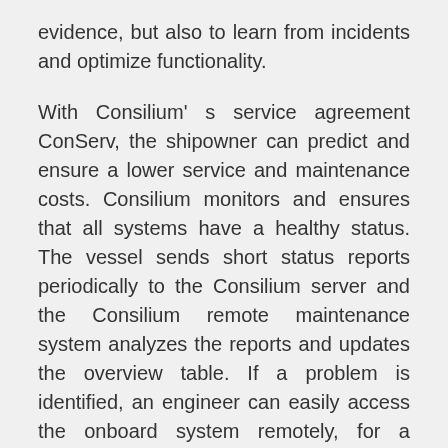evidence, but also to learn from incidents and optimize functionality.
With Consilium' s service agreement ConServ, the shipowner can predict and ensure a lower service and maintenance costs. Consilium monitors and ensures that all systems have a healthy status. The vessel sends short status reports periodically to the Consilium server and the Consilium remote maintenance system analyzes the reports and updates the overview table. If a problem is identified, an engineer can easily access the onboard system remotely, for a deeper analyze to proactively suggest how to rectify the problem at minimum efforts.
The recorded data in the Consilium VDR F2 is easily retrieved from the unit's storage devices and can